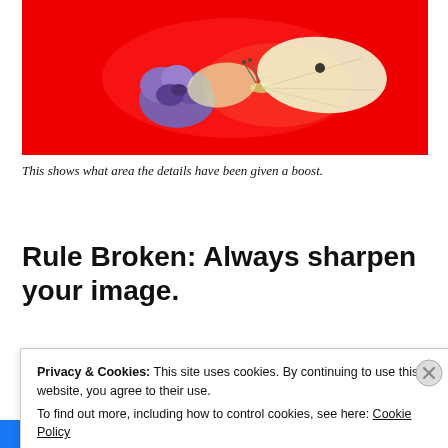[Figure (photo): A white butterfly on purple flowers against a bright red background, with a red oval/ellipse highlight indicating the area where details have been boosted.]
This shows what area the details have been given a boost.
Rule Broken: Always sharpen your image.
Privacy & Cookies: This site uses cookies. By continuing to use this website, you agree to their use. To find out more, including how to control cookies, see here: Cookie Policy